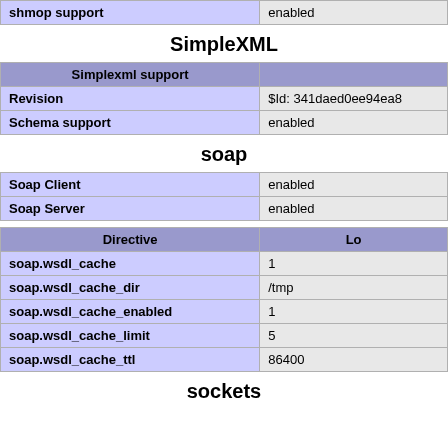| shmop support | enabled |
| --- | --- |
SimpleXML
| Simplexml support |  |
| --- | --- |
| Revision | $Id: 341daed0ee94ea8 |
| Schema support | enabled |
soap
| Soap Client | enabled |
| Soap Server | enabled |
| Directive | Lo |
| --- | --- |
| soap.wsdl_cache | 1 |
| soap.wsdl_cache_dir | /tmp |
| soap.wsdl_cache_enabled | 1 |
| soap.wsdl_cache_limit | 5 |
| soap.wsdl_cache_ttl | 86400 |
sockets